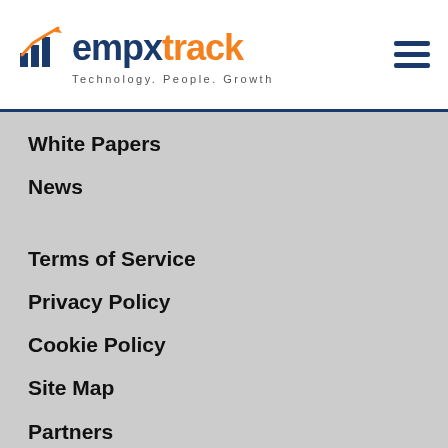[Figure (logo): empxtrack logo with bar chart icon and tagline 'Technology. People. Growth']
White Papers
News
Terms of Service
Privacy Policy
Cookie Policy
Site Map
Partners
FAQs